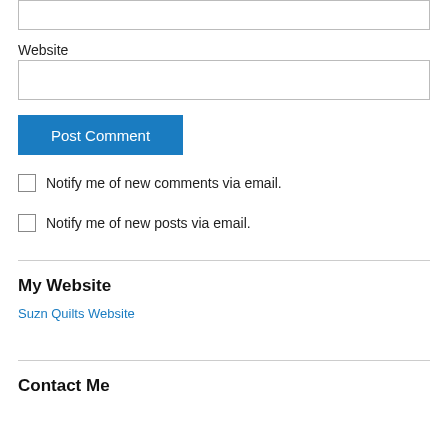Website
Post Comment
Notify me of new comments via email.
Notify me of new posts via email.
My Website
Suzn Quilts Website
Contact Me